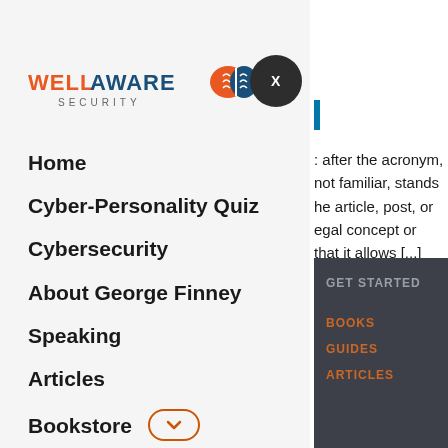[Figure (logo): WellAware Security logo with orange/blue brain icon and blue text]
[Figure (other): Dark circular close button with X]
Home
Cyber-Personality Quiz
Cybersecurity
About George Finney
Speaking
Articles
Bookstore
Connect
: after the acronym, not familiar, stands he article, post, or egal concept or that it allows [...]
GET STARTED
BOOKS
GUIDES
ARTICLES